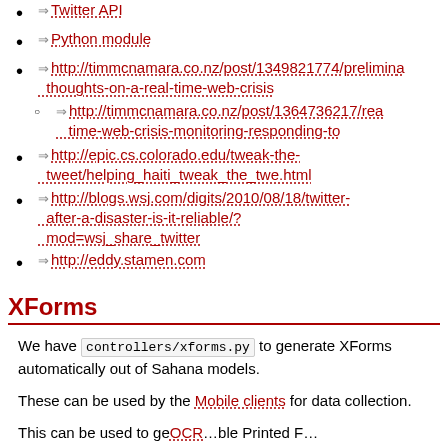Twitter API
Python module
http://timmcnamara.co.nz/post/1349821774/preliminary-thoughts-on-a-real-time-web-crisis
http://timmcnamara.co.nz/post/1364736217/real-time-web-crisis-monitoring-responding-to
http://epic.cs.colorado.edu/tweak-the-tweet/helping_haiti_tweak_the_twe.html
http://blogs.wsj.com/digits/2010/08/18/twitter-after-a-disaster-is-it-reliable/?mod=wsj_share_twitter
http://eddy.stamen.com
XForms
We have controllers/xforms.py to generate XForms automatically out of Sahana models.
These can be used by the Mobile clients for data collection.